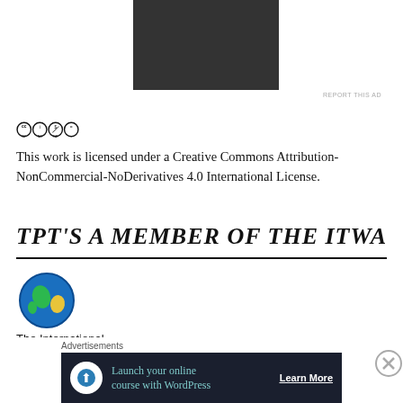[Figure (other): Dark grey/black advertisement rectangle placeholder at top center]
REPORT THIS AD
[Figure (logo): Creative Commons BY-NC-ND license badge with CC, person, dollar-sign-with-circle, and equals-sign icons]
This work is licensed under a Creative Commons Attribution-NonCommercial-NoDerivatives 4.0 International License.
TPT'S A MEMBER OF THE ITWA
[Figure (logo): Globe icon for The International Travel Writers Alliance (ITWA)]
The International Travel Writers
Advertisements
[Figure (other): Advertisement banner: Launch your online course with WordPress — Learn More]